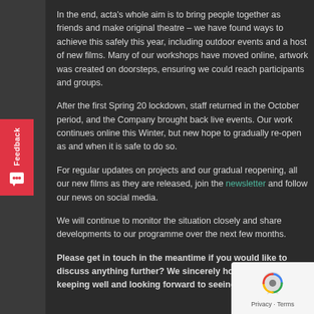In the end, acta's whole aim is to bring people together as friends and make original theatre – we have found ways to achieve this safely this year, including outdoor events and a host of new films. Many of our workshops have moved online, artwork was created on doorsteps, ensuring we could reach participants and groups.
After the first Spring 20 lockdown, staff returned in the October period, and the Company brought back live events. Our work continues online this Winter, but new hope to gradually re-open as and when it is safe to do so.
For regular updates on projects and our gradual reopening, all our new films as they are released, join the newsletter and follow our news on social media.
We will continue to monitor the situation closely and share developments to our programme over the next few months.
Please get in touch in the meantime if you would like to discuss anything further? We sincerely hope you are keeping well and looking forward to seeing everyone soon.